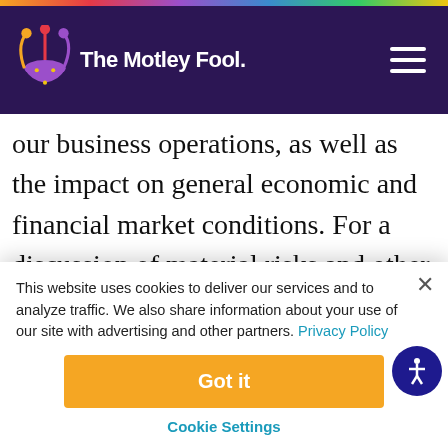The Motley Fool
our business operations, as well as the impact on general economic and financial market conditions. For a discussion of material risks and other important factors that could affect our actual results, please refer to those contained in our most recently filed annual report on Form 10-K
This website uses cookies to deliver our services and to analyze traffic. We also share information about your use of our site with advertising and other partners. Privacy Policy
Got it
Cookie Settings